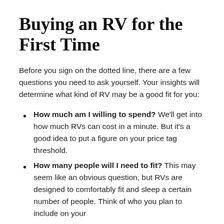Buying an RV for the First Time
Before you sign on the dotted line, there are a few questions you need to ask yourself. Your insights will determine what kind of RV may be a good fit for you:
How much am I willing to spend? We’ll get into how much RVs can cost in a minute. But it’s a good idea to put a figure on your price tag threshold.
How many people will I need to fit? This may seem like an obvious question, but RVs are designed to comfortably fit and sleep a certain number of people. Think of who you plan to include on your